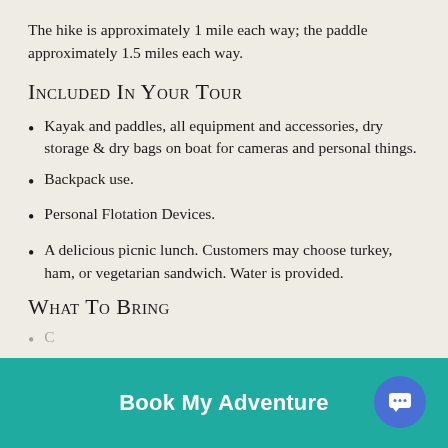The hike is approximately 1 mile each way; the paddle approximately 1.5 miles each way.
Included In Your Tour
Kayak and paddles, all equipment and accessories, dry storage & dry bags on boat for cameras and personal things.
Backpack use.
Personal Flotation Devices.
A delicious picnic lunch. Customers may choose turkey, ham, or vegetarian sandwich. Water is provided.
What To Bring
Customers... (partially visible)
be completely submerged in water... (partially visible)